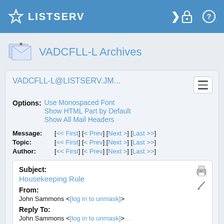LISTSERV
VADCFLL-L Archives
VADCFLL-L@LISTSERV.JM...
Options: Use Monospaced Font | Show HTML Part by Default | Show All Mail Headers
Message: [<< First] [< Prev] [Next >] [Last >>]
Topic: [<< First] [< Prev] [Next >] [Last >>]
Author: [<< First] [< Prev] [Next >] [Last >>]
Subject: Housekeeping Rule
From: John Sammons <[log in to unmask]>
Reply To: John Sammons <[log in to unmask]>